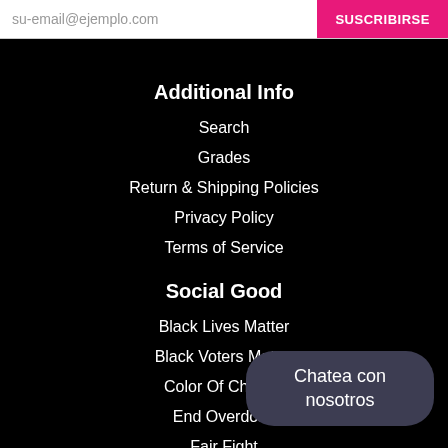su-email@ejemplo.com | SUSCRIBIRSE
Additional Info
Search
Grades
Return & Shipping Policies
Privacy Policy
Terms of Service
Social Good
Black Lives Matter
Black Voters Matter
Color Of Change
End Overdose
Fair Fight
Girls Inc. PA/NJ
Chatea con nosotros